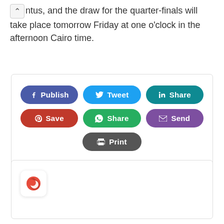ntus, and the draw for the quarter-finals will take place tomorrow Friday at one o'clock in the afternoon Cairo time.
[Figure (screenshot): Social sharing buttons panel: Facebook Publish (blue-purple), Tweet (light blue), LinkedIn Share (teal), Pinterest Save (red), WhatsApp Share (green), Email Send (purple), Print (gray)]
[Figure (screenshot): Widget box with a red crescent/gear icon on a white rounded square with shadow]